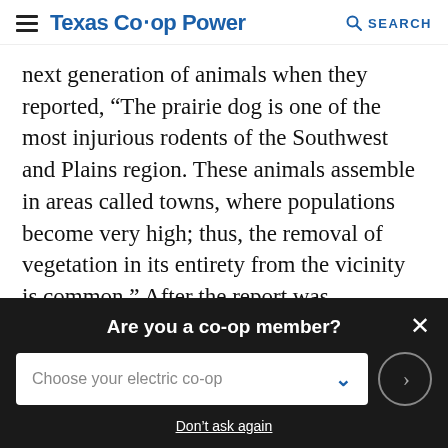Texas Co-op Power  SEARCH
next generation of animals when they reported, “The prairie dog is one of the most injurious rodents of the Southwest and Plains region. These animals assemble in areas called towns, where populations become very high; thus, the removal of vegetation in its entirety from the vicinity is common.” After the report was published, eradication efforts continued across the Great Plains.
As the numbers of prairie dogs dropped precipitously
Are you a co-op member?
Choose your electric co-op
Don’t ask again